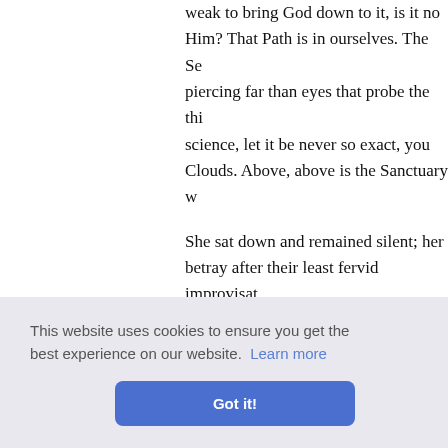weak to bring God down to it, is it no Him? That Path is in ourselves. The Se piercing far than eyes that probe the thi science, let it be never so exact, you Clouds. Above, above is the Sanctuary w
She sat down and remained silent; her betray after their least fervid improvisat
Wilfrid bent toward Monsieur Becker a
"I do not know," he answered.
"He... gentler... the Falher," Minna
...ss her ey
...ight, gen ...olitics or ... k your te
Norwegian evenings. Come, dear pasto
This website uses cookies to ensure you get the best experience on our website. Learn more
Got it!